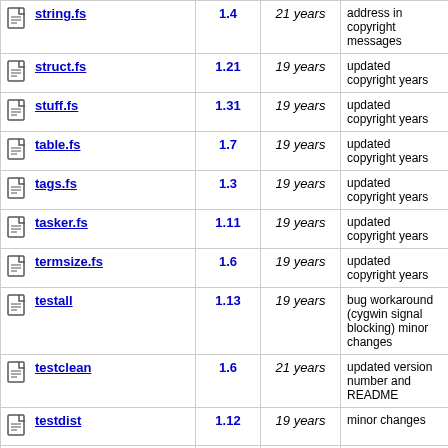| File | Rev. | Age | Last log entry |
| --- | --- | --- | --- |
| string.fs | 1.4 | 21 years | address in copyright messages |
| struct.fs | 1.21 | 19 years | updated copyright years |
| stuff.fs | 1.31 | 19 years | updated copyright years |
| table.fs | 1.7 | 19 years | updated copyright years |
| tags.fs | 1.3 | 19 years | updated copyright years |
| tasker.fs | 1.11 | 19 years | updated copyright years |
| termsize.fs | 1.6 | 19 years | updated copyright years |
| testall | 1.13 | 19 years | bug workaround (cygwin signal blocking) minor changes |
| testclean | 1.6 | 21 years | updated version number and README |
| testdist | 1.12 | 19 years | minor changes |
| testdist1 | 1.4 | 25 years | Bug fixes, consistency |